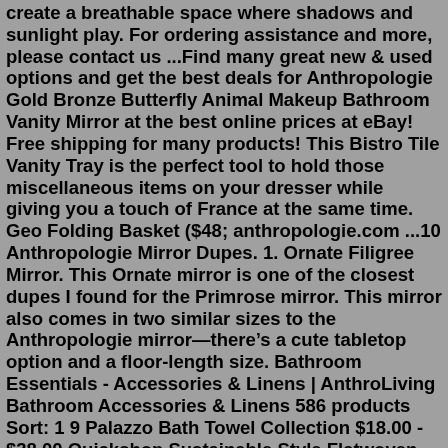create a breathable space where shadows and sunlight play. For ordering assistance and more, please contact us ...Find many great new & used options and get the best deals for Anthropologie Gold Bronze Butterfly Animal Makeup Bathroom Vanity Mirror at the best online prices at eBay! Free shipping for many products! This Bistro Tile Vanity Tray is the perfect tool to hold those miscellaneous items on your dresser while giving you a touch of France at the same time. Geo Folding Basket ($48; anthropologie.com ...10 Anthropologie Mirror Dupes. 1. Ornate Filigree Mirror. This Ornate mirror is one of the closest dupes I found for the Primrose mirror. This mirror also comes in two similar sizes to the Anthropologie mirror—there's a cute tabletop option and a floor-length size. Bathroom Essentials - Accessories & Linens | AnthroLiving Bathroom Accessories & Linens 586 products Sort: 1 9 Palazzo Bath Towel Collection $18.00 - $38.00 Quickshop Sustainable Style Flatwoven Hideaway Bath Mat $38.00 - $68.00 Quickshop Bimini Organic Cotton Shower Curtain